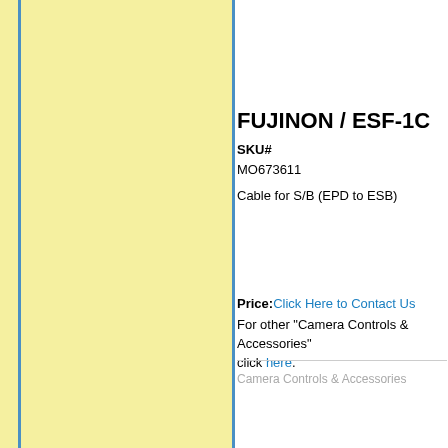[Figure (other): Yellow background panel with blue vertical border lines on the left side of the page]
FUJINON / ESF-1C
SKU#
MO673611
Cable for S/B (EPD to ESB)
Price: Click Here to Contact Us
For other "Camera Controls & Accessories" click here.
Camera Controls & Accessories